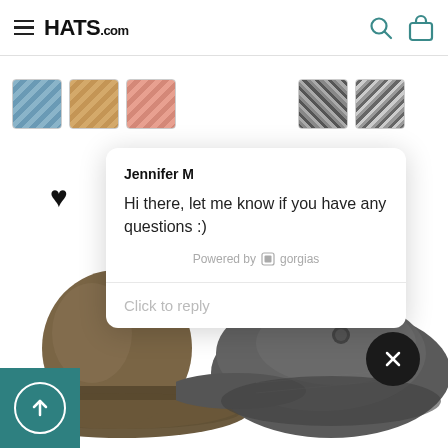[Figure (screenshot): Hats.com website header with hamburger menu, HATS.com logo, search icon, and shopping bag icon]
[Figure (screenshot): Color swatch thumbnails showing blue, tan, pink fabric swatches on left and two dark patterned swatches on right]
[Figure (screenshot): Chat popup from Jennifer M saying: Hi there, let me know if you have any questions :) with Powered by gorgias branding and Click to reply input]
[Figure (screenshot): Brown wool fedora hat on left and dark gray flat cap on right at the bottom of the page, with teal scroll-up button and dark close button]